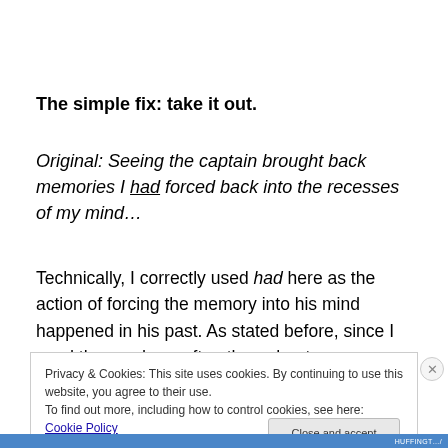The simple fix: take it out.
Original: Seeing the captain brought back memories I had forced back into the recesses of my mind…
Technically, I correctly used had here as the action of forcing the memory into his mind happened in his past. As stated before, since I used the words so often throughout
Privacy & Cookies: This site uses cookies. By continuing to use this website, you agree to their use.
To find out more, including how to control cookies, see here: Cookie Policy
Close and accept